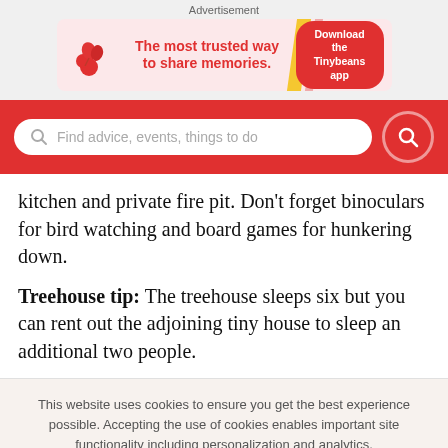[Figure (advertisement): Tinybeans app advertisement banner: logo with red leaves/cherries icon, text 'The most trusted way to share memories.' and red 'Download the Tinybeans app' button]
[Figure (screenshot): Red search bar with white rounded input field containing search icon and placeholder 'Find advice, events, things to do', and red circular search button on the right]
kitchen and private fire pit. Don't forget binoculars for bird watching and board games for hunkering down.
Treehouse tip: The treehouse sleeps six but you can rent out the adjoining tiny house to sleep an additional two people.
This website uses cookies to ensure you get the best experience possible. Accepting the use of cookies enables important site functionality including personalization and analytics.
Accept
Decline